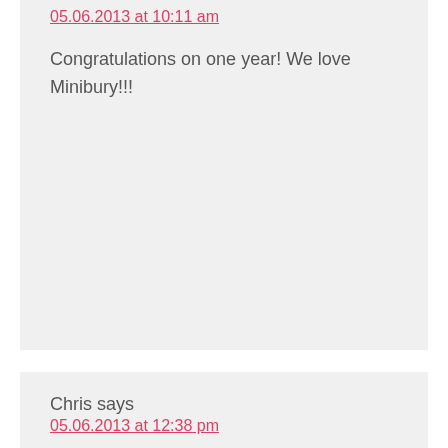05.06.2013 at 10:11 am
Congratulations on one year! We love Minibury!!!
Chris says
05.06.2013 at 12:38 pm
Thanks for all your work on this site! It's terrific!